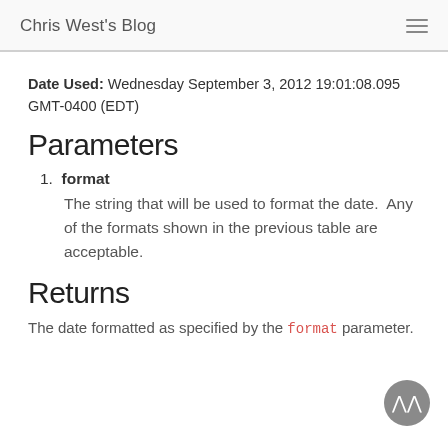Chris West's Blog
Date Used:  Wednesday September 3, 2012 19:01:08.095 GMT-0400 (EDT)
Parameters
1. format
The string that will be used to format the date.  Any of the formats shown in the previous table are acceptable.
Returns
The date formatted as specified by the format parameter.